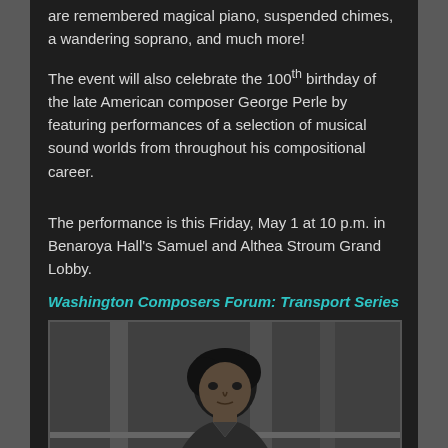are remembered magical piano, suspended chimes, a wandering soprano, and much more!
The event will also celebrate the 100th birthday of the late American composer George Perle by featuring performances of a selection of musical sound worlds from throughout his compositional career.
The performance is this Friday, May 1 at 10 p.m. in Benaroya Hall's Samuel and Althea Stroum Grand Lobby.
Washington Composers Forum: Transport Series
[Figure (photo): Black and white photo of a young man with dark curly hair, standing near a railing or architectural structure, looking slightly to the side.]